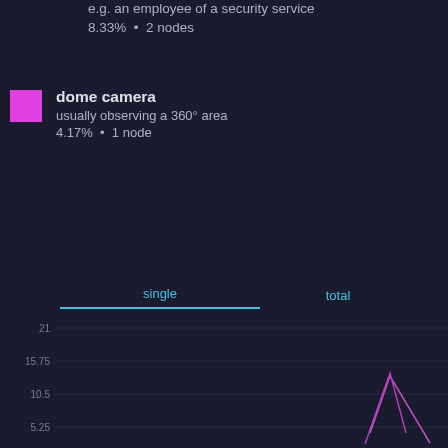e.g. an employee of a security service
8.33%  •  2 nodes
dome camera
usually observing a 360° area
4.17%  •  1 node
single
total
[Figure (line-chart): Partial line chart on dark background showing a line starting near bottom-right corner and rising sharply upward, with y-axis labels 21, 15.75, 10.5, 5.25]